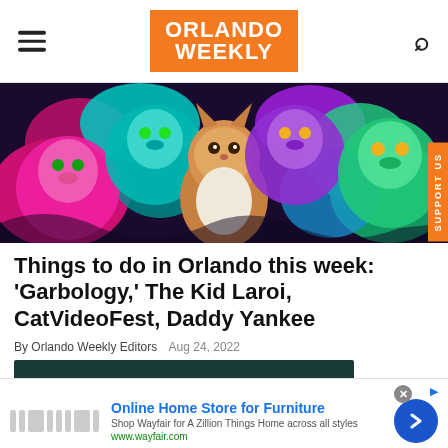ORLANDO WEEKLY
[Figure (photo): Colorful psychedelic illustration of multiple cats with vivid neon colors — pink, teal, purple, green, orange — against a dark patterned background. A realistic orange-and-white kitten sits in the center.]
Things to do in Orlando this week: 'Garbology,' The Kid Laroi, CatVideoFest, Daddy Yankee
By Orlando Weekly Editors   Aug 24, 2022
[Figure (screenshot): Advertisement for Wayfair: Online Home Store for Furniture. Shop Wayfair for A Zillion Things Home across all styles. www.wayfair.com]